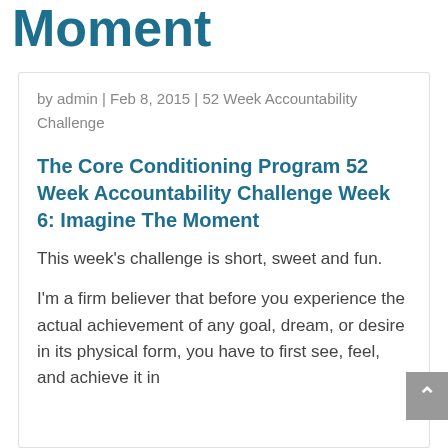Moment
by admin | Feb 8, 2015 | 52 Week Accountability Challenge
The Core Conditioning Program 52 Week Accountability Challenge Week 6: Imagine The Moment
This week's challenge is short, sweet and fun.
I'm a firm believer that before you experience the actual achievement of any goal, dream, or desire in its physical form, you have to first see, feel, and achieve it in